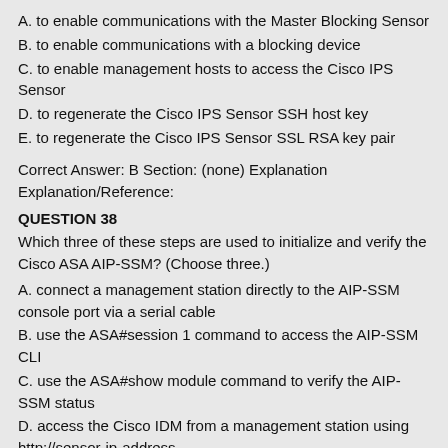A. to enable communications with the Master Blocking Sensor
B. to enable communications with a blocking device
C. to enable management hosts to access the Cisco IPS Sensor
D. to regenerate the Cisco IPS Sensor SSH host key
E. to regenerate the Cisco IPS Sensor SSL RSA key pair
Correct Answer: B Section: (none) Explanation Explanation/Reference:
QUESTION 38
Which three of these steps are used to initialize and verify the Cisco ASA AIP-SSM? (Choose three.)
A. connect a management station directly to the AIP-SSM console port via a serial cable
B. use the ASA#session 1 command to access the AIP-SSM CLI
C. use the ASA#show module command to verify the AIP-SSM status
D. access the Cisco IDM from a management station using http://sensor-ip-address
E. use the sensor#setup command to configure the basic sensor settings
F. use the ASA#telnet sensor-ip-address command to access the